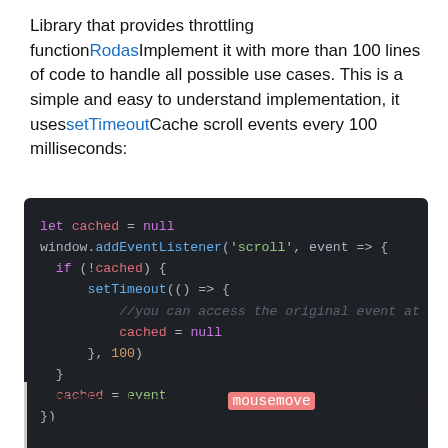Library that provides throttling functionRodasImplement it with more than 100 lines of code to handle all possible use cases. This is a simple and easy to understand implementation, it usessetTimeoutCache scroll events every 100 milliseconds:
[Figure (screenshot): Code block showing JavaScript throttle implementation using setTimeout and cached scroll events]
Throttling also applies to mousemove Events seen in the mouse event course. The same thing-moving the